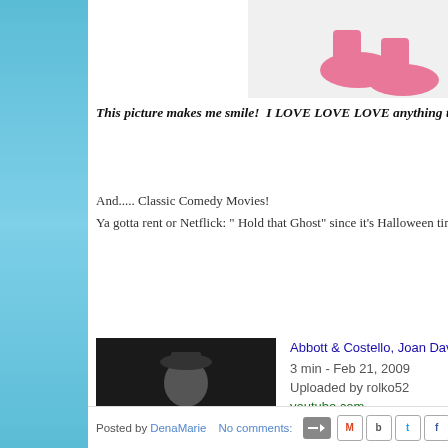[Figure (photo): Partial image of pink shoes/slippers at top right of page]
This picture makes me smile!  I LOVE LOVE LOVE anything that r
And..... Classic Comedy Movies!
Ya gotta rent or Netflick: " Hold that Ghost" since it's Halloween time
[Figure (screenshot): YouTube video embed showing Abbott & Costello Hold That Ghost. Thumbnail is a black and white still from the movie. Play button shown below. Video info: 3 min - Feb 21, 2009, Uploaded by rolko52, youtube.com]
Posted by DenaMarie   No comments: